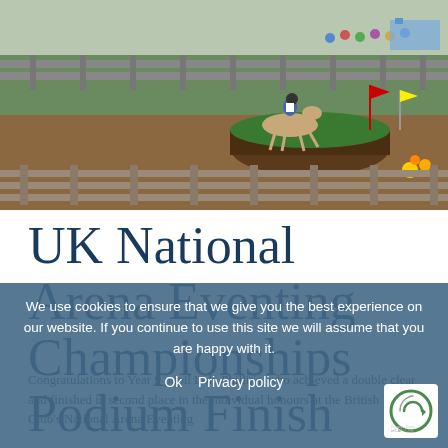[Figure (photo): Outdoor equestrian arena with horse and rider jumping over a cross-country fence obstacle, surrounded by wooden rail fencing, spectators and flags visible in background]
UK National Arena Eventing Championships Podium Finish
We use cookies to ensure that we give you the best experience on our website. If you continue to use this site we will assume that you are happy with it.
Ok  Privacy policy
Congratulations to Year 9 pupil Lola Phillips, who achieved a double clear and finished in second place in the individual honours at the British Riding Club's National Arena Eventing